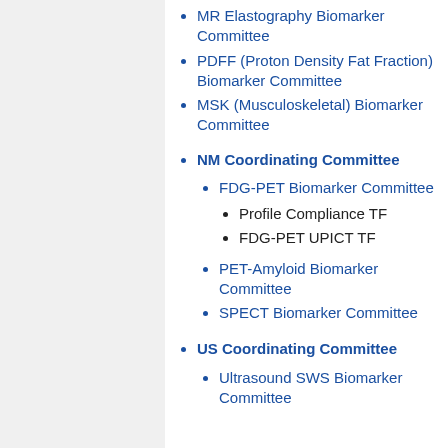MR Elastography Biomarker Committee
PDFF (Proton Density Fat Fraction) Biomarker Committee
MSK (Musculoskeletal) Biomarker Committee
NM Coordinating Committee
FDG-PET Biomarker Committee
Profile Compliance TF
FDG-PET UPICT TF
PET-Amyloid Biomarker Committee
SPECT Biomarker Committee
US Coordinating Committee
Ultrasound SWS Biomarker Committee